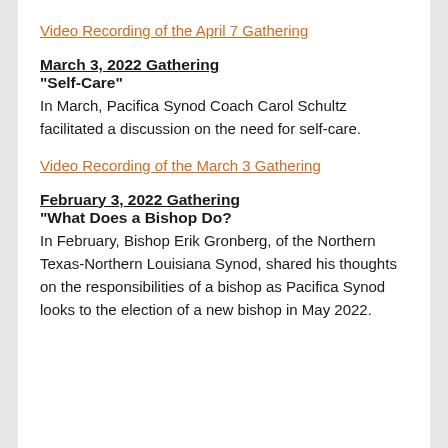Video Recording of the April 7 Gathering
March 3, 2022 Gathering
“Self-Care”
In March, Pacifica Synod Coach Carol Schultz facilitated a discussion on the need for self-care.
Video Recording of the March 3 Gathering
February 3, 2022 Gathering
“What Does a Bishop Do?
In February, Bishop Erik Gronberg, of the Northern Texas-Northern Louisiana Synod, shared his thoughts on the responsibilities of a bishop as Pacifica Synod looks to the election of a new bishop in May 2022.